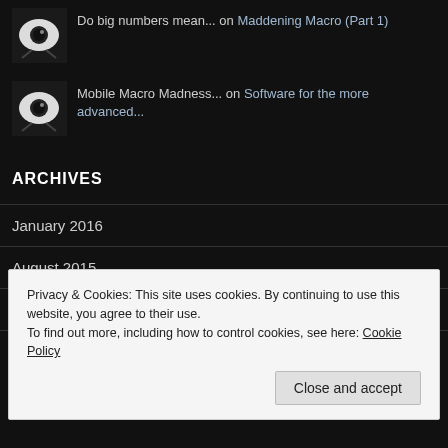Do big numbers mean... on Maddening Macro (Part 1)
Mobile Macro Madness... on Software for the more advanced...
ARCHIVES
January 2016
August 2015
November 2014
Privacy & Cookies: This site uses cookies. By continuing to use this website, you agree to their use.
To find out more, including how to control cookies, see here: Cookie Policy
Close and accept